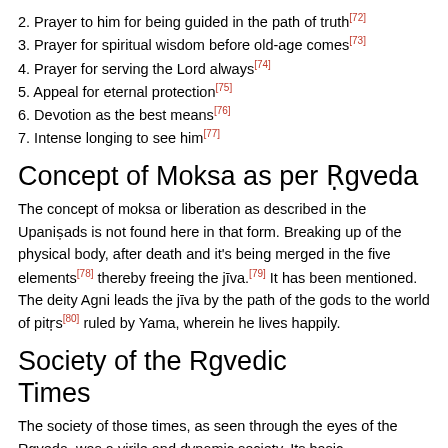2. Prayer to him for being guided in the path of truth[72]
3. Prayer for spiritual wisdom before old-age comes[73]
4. Prayer for serving the Lord always[74]
5. Appeal for eternal protection[75]
6. Devotion as the best means[76]
7. Intense longing to see him[77]
Concept of Moksa as per Ṛgveda
The concept of moksa or liberation as described in the Upaniṣads is not found here in that form. Breaking up of the physical body, after death and it's being merged in the five elements[78] thereby freeing the jīva.[79] It has been mentioned. The deity Agni leads the jīva by the path of the gods to the world of pitṛs[80] ruled by Yama, wherein he lives happily.
Society of the Rgvedic Times
The society of those times, as seen through the eyes of the Rgveda, was a virile and dynamic society. Its basic